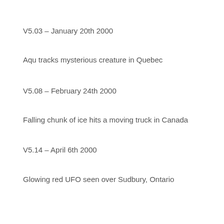V5.03 – January 20th 2000
Aqu tracks mysterious creature in Quebec
V5.08 – February 24th 2000
Falling chunk of ice hits a moving truck in Canada
V5.14 – April 6th 2000
Glowing red UFO seen over Sudbury, Ontario
V5.15 – April 13th 2000
Couple chases saucer in Canada's Yukon
V5.18 – May 4th 2000